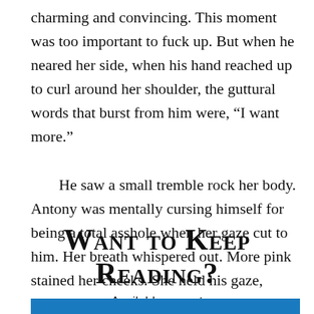charming and convincing. This moment was too important to fuck up. But when he neared her side, when his hand reached up to curl around her shoulder, the guttural words that burst from him were, “I want more.”

    He saw a small tremble rock her body. Antony was mentally cursing himself for being a total asshole when her gaze cut to him. Her breath whispered out. More pink stained her cheeks. She held his gaze, nodded slowly, and said, “So do I.”
Want to Keep Reading?
Available now at
[Figure (other): Blue rectangular bar at the bottom of the page]